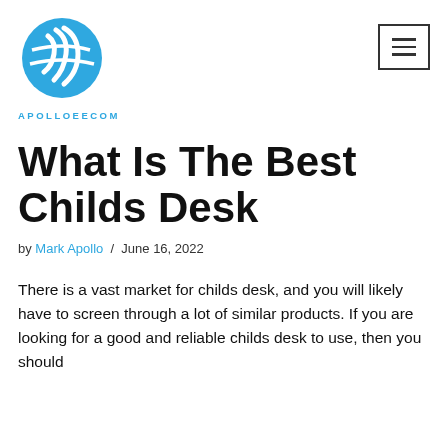[Figure (logo): Blue globe/earth logo with stylized F letter and swoosh marks]
APOLLOEECOM
What Is The Best Childs Desk
by Mark Apollo / June 16, 2022
There is a vast market for childs desk, and you will likely have to screen through a lot of similar products. If you are looking for a good and reliable childs desk to use, then you should